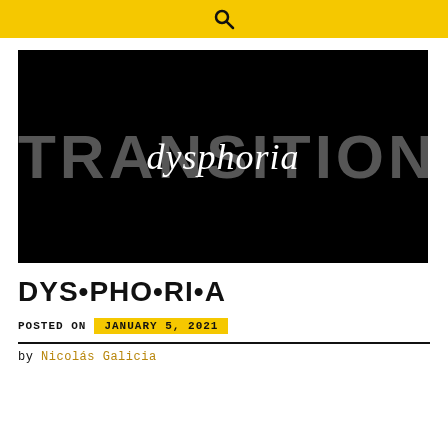🔍
[Figure (illustration): Black background image with large grey bold uppercase text 'TRANSITION' overlaid with white italic script text 'dysphoria' centered over it.]
DYS•PHO•RI•A
POSTED ON   JANUARY 5, 2021
by Nicolás Galicia